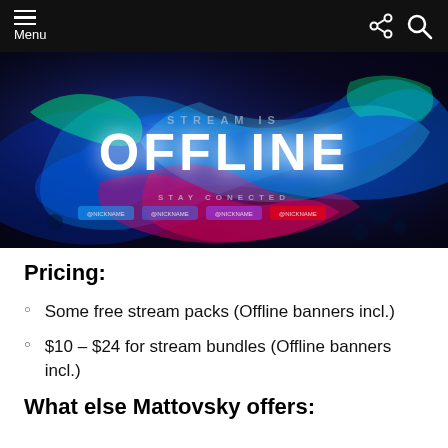Menu
[Figure (illustration): Gaming stream offline banner with colorful swirling liquid paint effect on dark background. Text reads 'STREAM IS OFFLINE' and 'STAY CONNECTED' with social media placeholders showing '@NICKNAME'.]
Pricing:
Some free stream packs (Offline banners incl.)
$10 – $24 for stream bundles (Offline banners incl.)
What else Mattovsky offers: